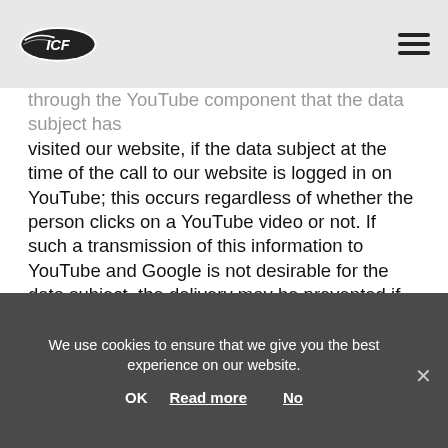ICF logo and navigation menu
through the YouTube component that the data subject has visited our website, if the data subject at the time of the call to our website is logged in on YouTube; this occurs regardless of whether the person clicks on a YouTube video or not. If such a transmission of this information to YouTube and Google is not desirable for the data subject, the delivery may be prevented if the data subject logs off from their own YouTube account before a call-up to our website is made. YouTube's data protection provisions, available at https://www.google.com/intl/en/policies/privacy/, provide information about the collection, processing and use of personal data by YouTube and Google.
We use cookies to ensure that we give you the best experience on our website.
OK  Read more  No